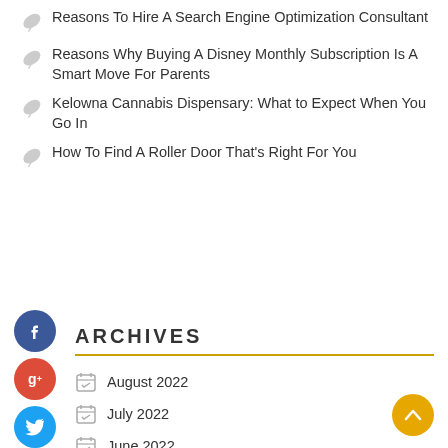Reasons To Hire A Search Engine Optimization Consultant
Reasons Why Buying A Disney Monthly Subscription Is A Smart Move For Parents
Kelowna Cannabis Dispensary: What to Expect When You Go In
How To Find A Roller Door That’s Right For You
ARCHIVES
August 2022
July 2022
June 2022
May 2022